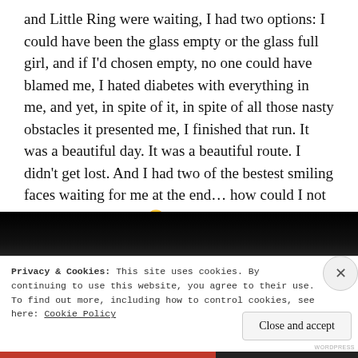and Little Ring were waiting, I had two options: I could have been the glass empty or the glass full girl, and if I'd chosen empty, no one could have blamed me, I hated diabetes with everything in me, and yet, in spite of it, in spite of all those nasty obstacles it presented me, I finished that run. It was a beautiful day. It was a beautiful route. I didn't get lost. And I had two of the bestest smiling faces waiting for me at the end... how could I not be smiling in return 😀
[Figure (photo): Dark photograph showing a partial view of what appears to be a person or face in low light conditions, mostly black with some brownish tones in the center lower area]
Privacy & Cookies: This site uses cookies. By continuing to use this website, you agree to their use.
To find out more, including how to control cookies, see here: Cookie Policy
Close and accept